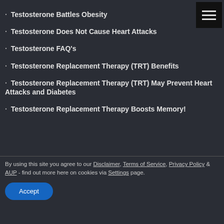Testosterone Battles Obesity
Testosterone Does Not Cause Heart Attacks
Testosterone FAQ's
Testosterone Replacement Therapy (TRT) Benefits
Testosterone Replacement Therapy (TRT) May Prevent Heart Attacks and Diabetes
Testosterone Replacement Therapy Boosts Memory!
By using this site you agree to our Disclaimer, Terms of Service, Privacy Policy & AUP - find out more here on cookies via Settings page.
Accept